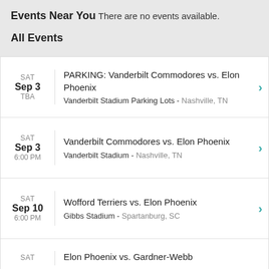Events Near You
There are no events available.
All Events
| SAT
Sep 3
TBA | PARKING: Vanderbilt Commodores vs. Elon Phoenix
Vanderbilt Stadium Parking Lots - Nashville, TN |
| SAT
Sep 3
6:00 PM | Vanderbilt Commodores vs. Elon Phoenix
Vanderbilt Stadium - Nashville, TN |
| SAT
Sep 10
6:00 PM | Wofford Terriers vs. Elon Phoenix
Gibbs Stadium - Spartanburg, SC |
| SAT | Elon Phoenix vs. Gardner-Webb |